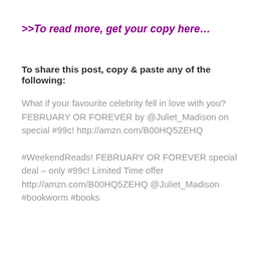>>To read more, get your copy here…
To share this post, copy & paste any of the following:
What if your favourite celebrity fell in love with you? FEBRUARY OR FOREVER by @Juliet_Madison on special #99c! http://amzn.com/B00HQ5ZEHQ
#WeekendReads! FEBRUARY OR FOREVER special deal – only #99c! Limited Time offer http://amzn.com/B00HQ5ZEHQ @Juliet_Madison #bookworm #books